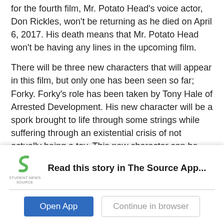for the fourth film, Mr. Potato Head's voice actor, Don Rickles, won't be returning as he died on April 6, 2017. His death means that Mr. Potato Head won't be having any lines in the upcoming film.
There will be three new characters that will appear in this film, but only one has been seen so far; Forky. Forky's role has been taken by Tony Hale of Arrested Development. His new character will be a spork brought to life through some strings while suffering through an existential crisis of not actually being a toy. This new character can be seen in the trailer. The other new characters reported to appear will be Ducky and Bunny, voiced by the comedy duo Keegan-Michael Key...
[Figure (logo): Student News Source logo - green S shape with 'STUDENT NEWS SOURCE' text below]
Read this story in The Source App...
Open App
Continue in browser